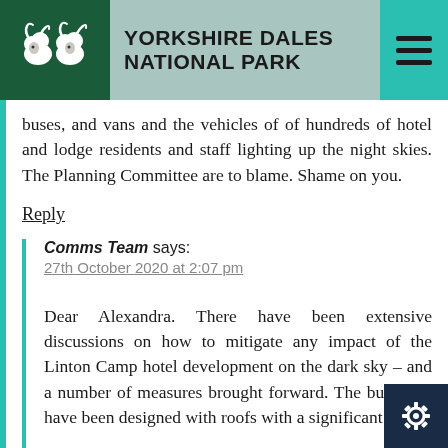YORKSHIRE DALES NATIONAL PARK
buses, and vans and the vehicles of of hundreds of hotel and lodge residents and staff lighting up the night skies. The Planning Committee are to blame. Shame on you.
Reply
Comms Team says:
27th October 2020 at 2:07 pm
Dear Alexandra. There have been extensive discussions on how to mitigate any impact of the Linton Camp hotel development on the dark sky – and a number of measures brought forward. The buildings have been designed with roofs with a significant